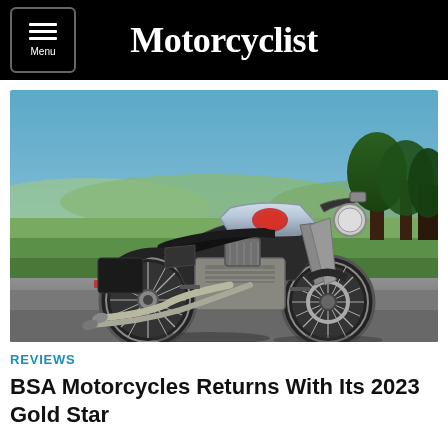Motorcyclist
[Figure (photo): A BSA Gold Star motorcycle parked on a road with a scenic countryside landscape and blue sky in the background.]
REVIEWS
BSA Motorcycles Returns With Its 2023 Gold Star